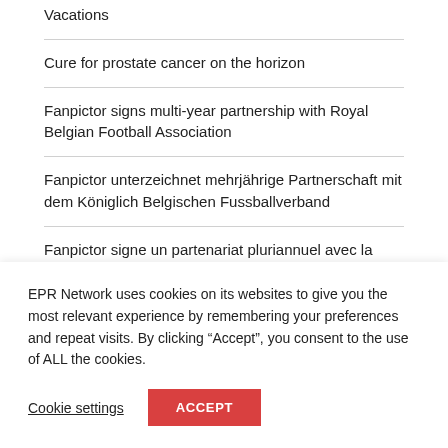Vacations
Cure for prostate cancer on the horizon
Fanpictor signs multi-year partnership with Royal Belgian Football Association
Fanpictor unterzeichnet mehrjährige Partnerschaft mit dem Königlich Belgischen Fussballverband
Fanpictor signe un partenariat pluriannuel avec la Royal Belgian Football Association
Fanpictor firma una colaboración de varios años con la
EPR Network uses cookies on its websites to give you the most relevant experience by remembering your preferences and repeat visits. By clicking "Accept", you consent to the use of ALL the cookies.
Cookie settings
ACCEPT